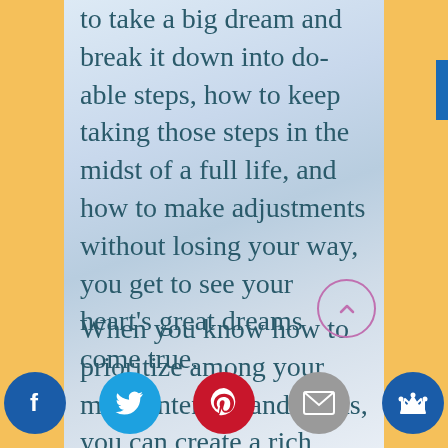to take a big dream and break it down into do-able steps, how to keep taking those steps in the midst of a full life, and how to make adjustments without losing your way, you get to see your heart's great dreams come true.
When you know how to prioritize among your many interests and needs, you can create a rich, balanced life that doesn't neglect any vital part of yourself.
It begins with fundamentally changing your relationship to time so that it is spacious, supportive, and magical. So th